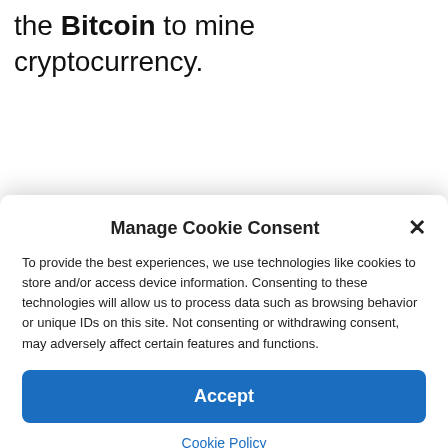the Bitcoin to mine cryptocurrency.
Manage Cookie Consent
To provide the best experiences, we use technologies like cookies to store and/or access device information. Consenting to these technologies will allow us to process data such as browsing behavior or unique IDs on this site. Not consenting or withdrawing consent, may adversely affect certain features and functions.
Accept
Cookie Policy